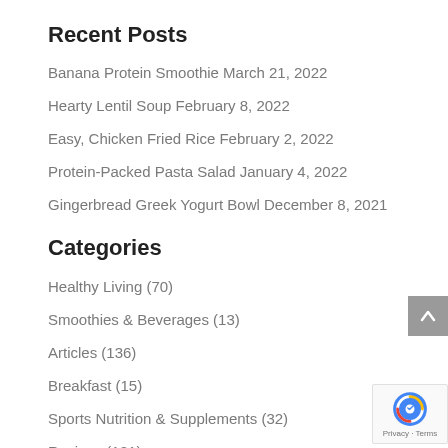Recent Posts
Banana Protein Smoothie March 21, 2022
Hearty Lentil Soup February 8, 2022
Easy, Chicken Fried Rice February 2, 2022
Protein-Packed Pasta Salad January 4, 2022
Gingerbread Greek Yogurt Bowl December 8, 2021
Categories
Healthy Living (70)
Smoothies & Beverages (13)
Articles (136)
Breakfast (15)
Sports Nutrition & Supplements (32)
Recipes (121)
Nutrition (57)